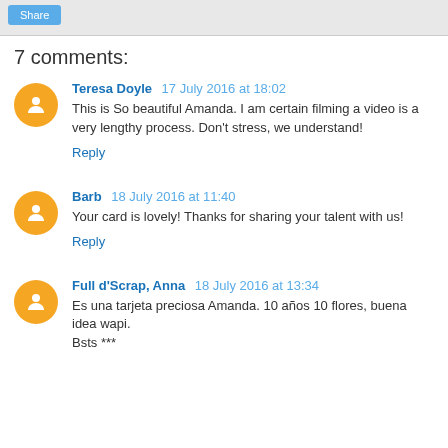Share
7 comments:
Teresa Doyle 17 July 2016 at 18:02
This is So beautiful Amanda. I am certain filming a video is a very lengthy process. Don't stress, we understand!
Reply
Barb 18 July 2016 at 11:40
Your card is lovely! Thanks for sharing your talent with us!
Reply
Full d'Scrap, Anna 18 July 2016 at 13:34
Es una tarjeta preciosa Amanda. 10 años 10 flores, buena idea wapi.
Bsts ***